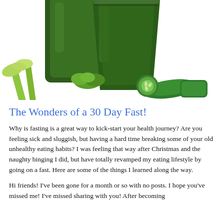[Figure (photo): Green juice/smoothie in a glass pitcher and tall glass, surrounded by celery stalks, parsley, and cucumber slices on a white background]
The Wonders of a 30 Day Fast!
Why is fasting is a great way to kick-start your health journey? Are you feeling sick and sluggish, but having a hard time breaking some of your old unhealthy eating habits? I was feeling that way after Christmas and the naughty binging I did, but have totally revamped my eating lifestyle by going on a fast. Here are some of the things I learned along the way.
Hi friends! I’ve been gone for a month or so with no posts. I hope you’ve missed me! I’ve missed sharing with you! After becoming